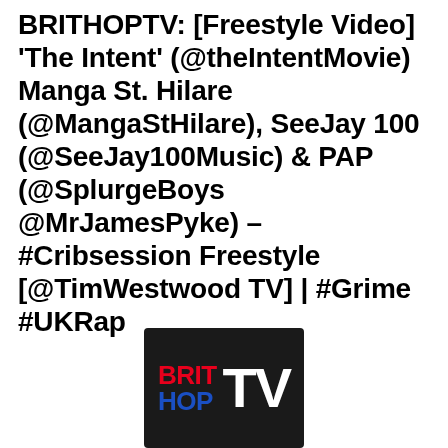BRITHOPTV: [Freestyle Video] 'The Intent' (@theIntentMovie) Manga St. Hilare (@MangaStHilare), SeeJay 100 (@SeeJay100Music) & PAP (@SplurgeBoys @MrJamesPyke) – #Cribsession Freestyle [@TimWestwood TV] | #Grime #UKRap
[Figure (logo): BRITHOPTV logo: dark background with BRIT in red, HOP in blue stacked on left, and TV in large white bold text on right]